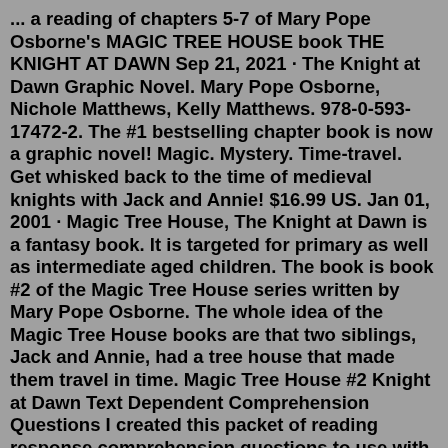... a reading of chapters 5-7 of Mary Pope Osborne's MAGIC TREE HOUSE book THE KNIGHT AT DAWN Sep 21, 2021 · The Knight at Dawn Graphic Novel. Mary Pope Osborne, Nichole Matthews, Kelly Matthews. 978-0-593-17472-2. The #1 bestselling chapter book is now a graphic novel! Magic. Mystery. Time-travel. Get whisked back to the time of medieval knights with Jack and Annie! $16.99 US. Jan 01, 2001 · Magic Tree House, The Knight at Dawn is a fantasy book. It is targeted for primary as well as intermediate aged children. The book is book #2 of the Magic Tree House series written by Mary Pope Osborne. The whole idea of the Magic Tree House books are that two siblings, Jack and Annie, had a tree house that made them travel in time. Magic Tree House #2 Knight at Dawn Text Dependent Comprehension Questions I created this packet of reading response comprehension questions to use with my "independent" readers who are ready to dig deeper into what they are reading. This Magic Tree House The Knight at Dawn is a 2.9 reading level